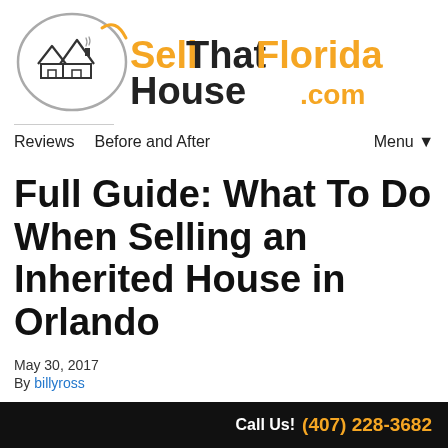[Figure (logo): SellThatFloridaHouse.com logo with house illustration and oval graphic element. 'Sell' in orange, 'That' in black, 'Florida' in orange, 'House' in black, '.com' in orange.]
Reviews   Before and After   Menu ▼
Full Guide: What To Do When Selling an Inherited House in Orlando
May 30, 2017
By billyross
Call Us! (407) 228-3682